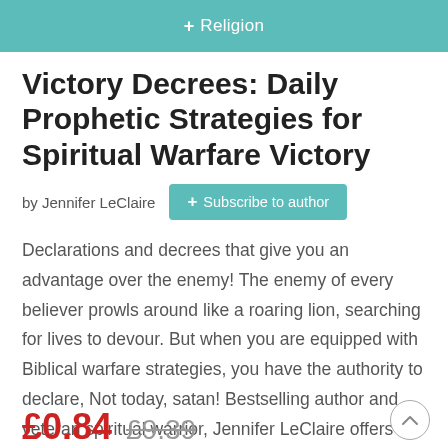+ Religion
Victory Decrees: Daily Prophetic Strategies for Spiritual Warfare Victory
by Jennifer LeClaire
+ Subscribe to author
Declarations and decrees that give you an advantage over the enemy! The enemy of every believer prowls around like a roaring lion, searching for lives to devour. But when you are equipped with Biblical warfare strategies, you have the authority to declare, Not today, satan! Bestselling author and veteran spiritual warrior, Jennifer LeClaire offers Victory Decreesa daily devotional of prophetic …
£0.84  £9.39